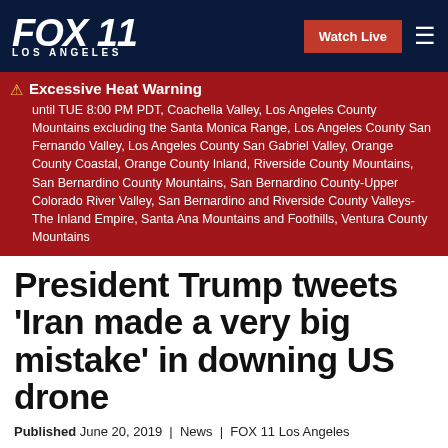FOX 11 LOS ANGELES | Watch Live
Excessive Heat Warning until TUE 8:00 PM PDT, Coachella Valley, Los Angeles County Mountains excluding the Santa Monica Range, Los Angeles County San Fernando Valley, Los Angeles County San Gabriel Valley, Orange County Coastal, Orange County Inland, Riverside County Mountains, San Bernardino County Mountains, San Bernardino County-Upper Colorado River Valley, San Bernardino and Riverside County Valleys-The Inland Empire, Santa Ana Mountains and Foothills, Ventura County Mountains
President Trump tweets 'Iran made a very big mistake' in downing US drone
Published June 20, 2019 | News | FOX 11 Los Angeles